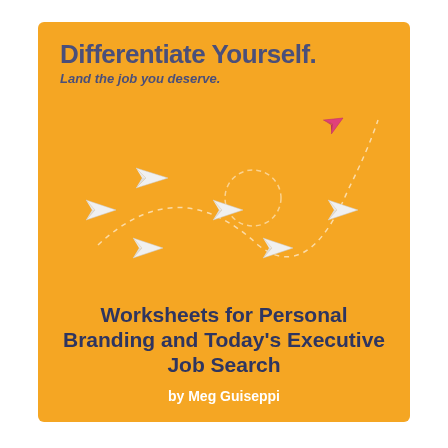Differentiate Yourself.
Land the job you deserve.
[Figure (illustration): Orange book cover with paper airplanes: six white paper planes flying in formation and one pink/magenta paper plane breaking away from the group, flying upward along a dashed curved path.]
Worksheets for Personal Branding and Today's Executive Job Search
by Meg Guiseppi